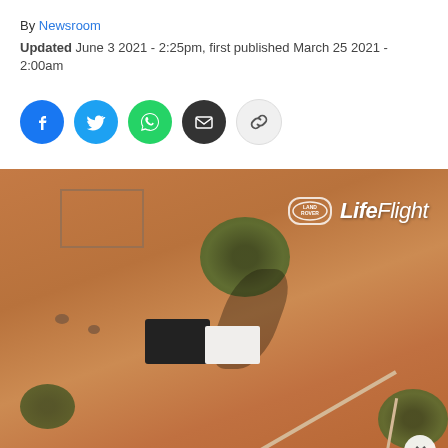By Newsroom
Updated June 3 2021 - 2:25pm, first published March 25 2021 - 2:00am
[Figure (other): Social media share buttons: Facebook (blue), Twitter (blue), WhatsApp (green), Email (dark), Link (grey)]
[Figure (photo): Aerial view of outback Australian landscape with brown/orange earth, scattered trees, vehicles, fencing, and animals. LifeFlight and Land Rover logo visible in top right corner.]
Ad